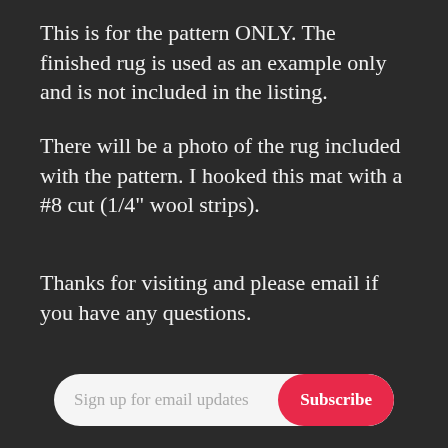This is for the pattern ONLY. The finished rug is used as an example only and is not included in the listing.
There will be a photo of the rug included with the pattern. I hooked this mat with a #8 cut (1/4" wool strips).
Thanks for visiting and please email if you have any questions.
Sign up for email updates  Subscribe